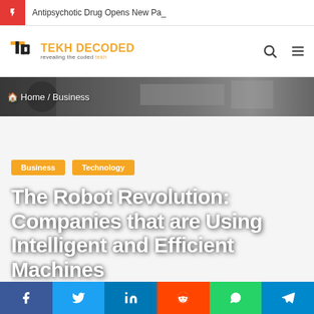Antipsychotic Drug Opens New Pa_
[Figure (logo): Tekh Decoded logo - orange and black T D icon with text 'TEKH DECODED - revealing the coded tekh']
[Figure (photo): Industrial/robotics facility background photo]
Home / Business
Business   Technology
The Robot Revolution: Companies that are Using Intelligent and Efficient Machines
Facebook  Twitter  LinkedIn  Reddit  WhatsApp  Telegram social share buttons